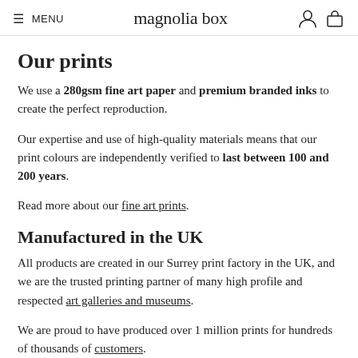≡ MENU   magnolia box
Our prints
We use a 280gsm fine art paper and premium branded inks to create the perfect reproduction.
Our expertise and use of high-quality materials means that our print colours are independently verified to last between 100 and 200 years.
Read more about our fine art prints.
Manufactured in the UK
All products are created in our Surrey print factory in the UK, and we are the trusted printing partner of many high profile and respected art galleries and museums.
We are proud to have produced over 1 million prints for hundreds of thousands of customers.